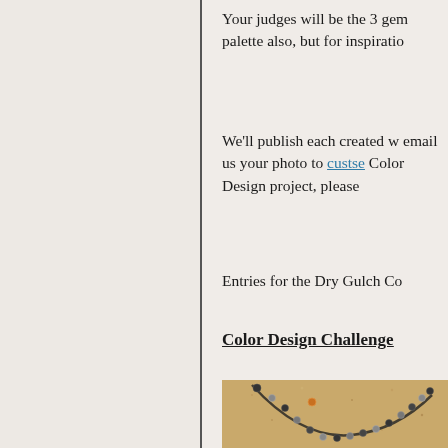Your judges will be the 3 gem palette also, but for inspiration
We'll publish each created w email us your photo to custse Color Design project, please
Entries for the Dry Gulch Co
Color Design Challenge
[Figure (photo): A beaded necklace with dark and silver beads arranged in a curved shape on a sandy/tan background, with a small orange/amber bead accent.]